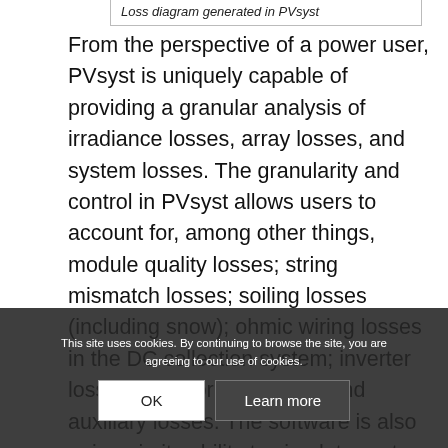Loss diagram generated in PVsyst
From the perspective of a power user, PVsyst is uniquely capable of providing a granular analysis of irradiance losses, array losses, and system losses. The granularity and control in PVsyst allows users to account for, among other things, module quality losses; string mismatch losses; soiling losses (including snow); ohmic wiring losses in the DC collection system; inverter losses; transformer losses; and auxiliary losses. The software is also unique in its ability to simulate system degradation and aging effects, which are essential for understanding energy production and economic performance over time.
This site uses cookies. By continuing to browse the site, you are agreeing to our use of cookies.